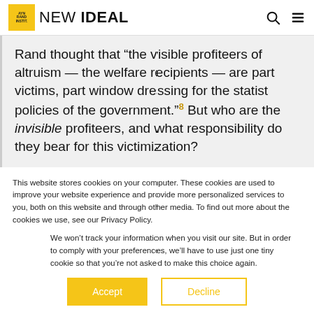NEW IDEAL
Rand thought that “the visible profiteers of altruism — the welfare recipients — are part victims, part window dressing for the statist policies of the government.”⁸ But who are the invisible profiteers, and what responsibility do they bear for this victimization?
This website stores cookies on your computer. These cookies are used to improve your website experience and provide more personalized services to you, both on this website and through other media. To find out more about the cookies we use, see our Privacy Policy.
We won’t track your information when you visit our site. But in order to comply with your preferences, we’ll have to use just one tiny cookie so that you’re not asked to make this choice again.